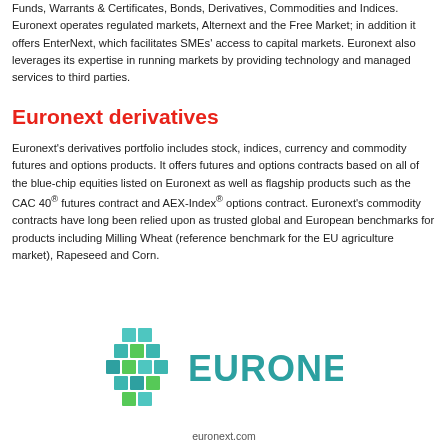Funds, Warrants & Certificates, Bonds, Derivatives, Commodities and Indices. Euronext operates regulated markets, Alternext and the Free Market; in addition it offers EnterNext, which facilitates SMEs' access to capital markets. Euronext also leverages its expertise in running markets by providing technology and managed services to third parties.
Euronext derivatives
Euronext's derivatives portfolio includes stock, indices, currency and commodity futures and options products. It offers futures and options contracts based on all of the blue-chip equities listed on Euronext as well as flagship products such as the CAC 40® futures contract and AEX-Index® options contract. Euronext's commodity contracts have long been relied upon as trusted global and European benchmarks for products including Milling Wheat (reference benchmark for the EU agriculture market), Rapeseed and Corn.
[Figure (logo): Euronext logo with colorful mosaic icon and EURONEXT text in teal]
euronext.com